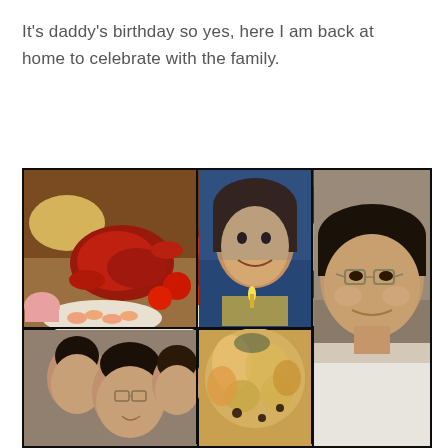It's daddy's birthday so yes, here I am back at home to celebrate with the family.
[Figure (photo): A collage of 5 photos: top-left shows a spread of Chinese food including crabs, shrimp, and fried rice; top-middle shows a young woman smiling holding a birthday cake with a candle; right side (tall) shows an older Asian man with glasses wearing a white t-shirt; bottom-left shows a family group photo with the same older man and two younger people; bottom-middle shows a close-up of seafood food dishes.]